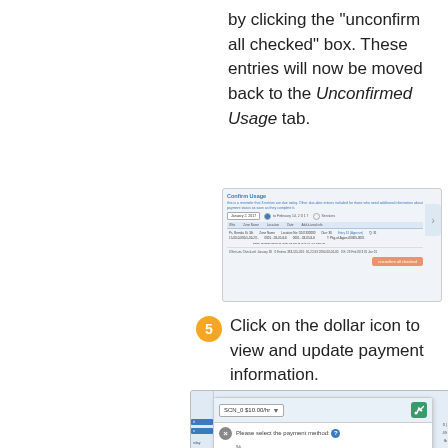by clicking the "unconfirm all checked" box. These entries will now be moved back to the Unconfirmed Usage tab.
[Figure (screenshot): Screenshot of Confirm Usage interface showing a data table with entries and an orange action button at the bottom right.]
5 Click on the dollar icon to view and update payment information.
[Figure (screenshot): Screenshot of payment information dialog showing SCN_0 $10.00/hr dropdown, payment method selection with Standing PO and 66498 (Approved) dropdown, 100.0 percentage input, 100.0% total allocated, Split Charge and Save buttons.]